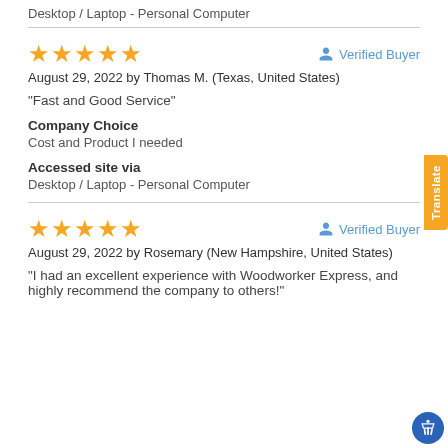Accessed site via
Desktop / Laptop - Personal Computer
★★★★★  Verified Buyer
August 29, 2022 by Thomas M. (Texas, United States)
"Fast and Good Service"
Company Choice
Cost and Product I needed
Accessed site via
Desktop / Laptop - Personal Computer
★★★★★  Verified Buyer
August 29, 2022 by Rosemary (New Hampshire, United States)
"I had an excellent experience with Woodworker Express, and highly recommend the company to others!"